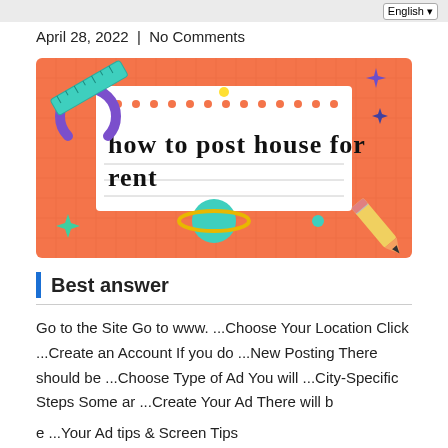April 28, 2022  |  No Comments
[Figure (illustration): Decorative banner image with orange/coral background and white center panel. Contains bold black text 'how to post house for rent', with illustrated school/space items: a teal ruler, purple horseshoe, yellow dot, teal planet with gold ring, teal pencil, sparkle stars in green and purple/blue.]
Best answer
Go to the Site Go to www. ...Choose Your Location Click ...Create an Account If you do ...New Posting There should be ...Choose Type of Ad You will ...City-Specific Steps Some ar ...Create Your Ad There will b e ...Your Ad tips & Screen Tips